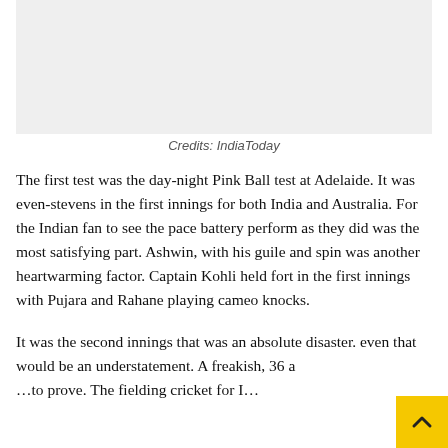[Figure (photo): Photograph placeholder with light gray background, likely a cricket-related image]
Credits: IndiaToday
The first test was the day-night Pink Ball test at Adelaide. It was even-stevens in the first innings for both India and Australia. For the Indian fan to see the pace battery perform as they did was the most satisfying part. Ashwin, with his guile and spin was another heartwarming factor. Captain Kohli held fort in the first innings with Pujara and Rahane playing cameo knocks.
It was the second innings that was an absolute disaster. even that would be an understatement. A freakish, 36 a… The fielding cricket for I…